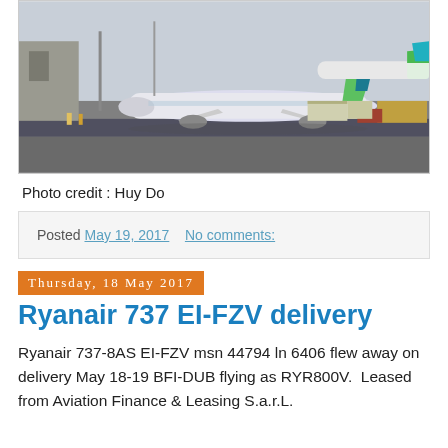[Figure (photo): Aerial/ground-level view of aircraft at airport tarmac, including a Boeing 737 with green tail livery and other aircraft and ground equipment visible]
Photo credit : Huy Do
Posted May 19, 2017   No comments:
Thursday, 18 May 2017
Ryanair 737 EI-FZV delivery
Ryanair 737-8AS EI-FZV msn 44794 ln 6406 flew away on delivery May 18-19 BFI-DUB flying as RYR800V.  Leased from Aviation Finance & Leasing S.a.r.L.